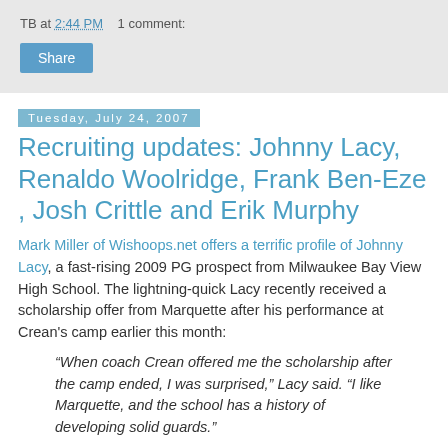TB at 2:44 PM    1 comment:
Share
Tuesday, July 24, 2007
Recruiting updates: Johnny Lacy, Renaldo Woolridge, Frank Ben-Eze , Josh Crittle and Erik Murphy
Mark Miller of Wishoops.net offers a terrific profile of Johnny Lacy, a fast-rising 2009 PG prospect from Milwaukee Bay View High School. The lightning-quick Lacy recently received a scholarship offer from Marquette after his performance at Crean's camp earlier this month:
“When coach Crean offered me the scholarship after the camp ended, I was surprised,” Lacy said. “I like Marquette, and the school has a history of developing solid guards.”